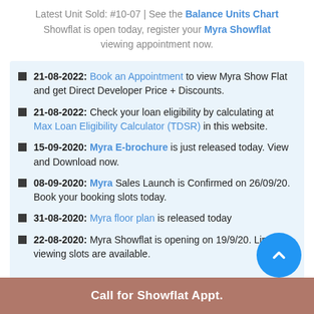Latest Unit Sold: #10-07 | See the Balance Units Chart Showflat is open today, register your Myra Showflat viewing appointment now.
21-08-2022: Book an Appointment to view Myra Show Flat and get Direct Developer Price + Discounts.
21-08-2022: Check your loan eligibility by calculating at Max Loan Eligibility Calculator (TDSR) in this website.
15-09-2020: Myra E-brochure is just released today. View and Download now.
08-09-2020: Myra Sales Launch is Confirmed on 26/09/20. Book your booking slots today.
31-08-2020: Myra floor plan is released today
22-08-2020: Myra Showflat is opening on 19/9/20. Limited viewing slots are available.
Call for Showflat Appt.